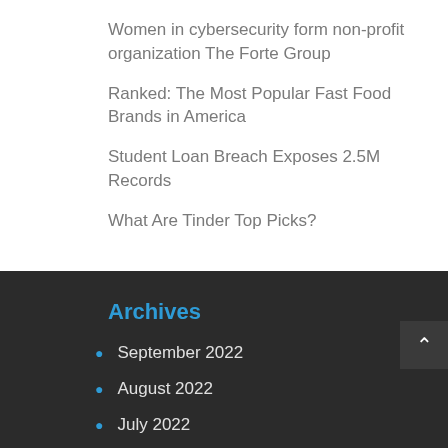Women in cybersecurity form non-profit organization The Forte Group
Ranked: The Most Popular Fast Food Brands in America
Student Loan Breach Exposes 2.5M Records
What Are Tinder Top Picks?
Archives
September 2022
August 2022
July 2022
June 2022
May 2022
April 2022